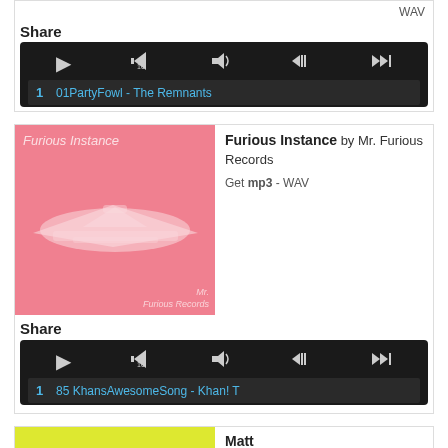[Figure (screenshot): Music player card partial top — WAV format link shown, player controls and track '1 01PartyFowl - The Remnants' in blue text on dark background]
Share
[Figure (screenshot): Audio player widget with dark background, play/replay/volume/skip controls, track: '1   01PartyFowl - The Remnants']
[Figure (illustration): Pink album art for 'Furious Instance' by Mr. Furious Records, showing stylized white graphic on pink background]
Furious Instance by Mr. Furious Records Get mp3 - WAV
Share
[Figure (screenshot): Audio player widget, track: '1   85 KhansAwesomeSong - Khan! T']
[Figure (illustration): Yellow album art, partial view at bottom]
Matt